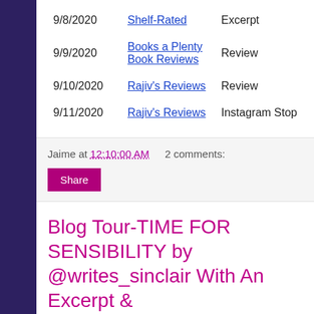| Date | Blog | Type |
| --- | --- | --- |
| 9/8/2020 | Shelf-Rated | Excerpt |
| 9/9/2020 | Books a Plenty Book Reviews | Review |
| 9/10/2020 | Rajiv's Reviews | Review |
| 9/11/2020 | Rajiv's Reviews | Instagram Stop |
Jaime at 12:10:00 AM   2 comments:
Share
Blog Tour-TIME FOR SENSIBILITY by @writes_sinclair With An Excerpt & #Giveaway! @RockstarBkTours